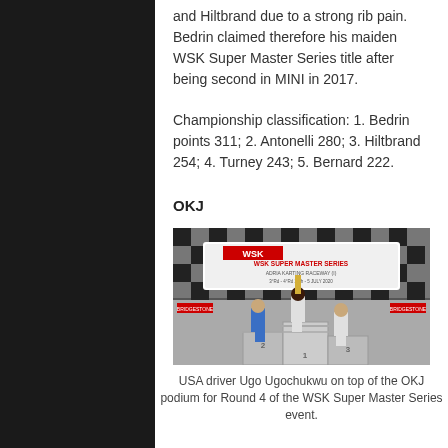and Hiltbrand due to a strong rib pain. Bedrin claimed therefore his maiden WSK Super Master Series title after being second in MINI in 2017.
Championship classification: 1. Bedrin points 311; 2. Antonelli 280; 3. Hiltbrand 254; 4. Turney 243; 5. Bernard 222.
OKJ
[Figure (photo): Podium ceremony at WSK Super Master Series, Adria Karting Raceway. Three drivers on podium with trophy, checkered flag backdrop. Banner reads: WSK Super Master Series, Adria Karting Raceway (I), 3rd Rd - 4th Rd 25th - 5 July 2020.]
USA driver Ugo Ugochukwu on top of the OKJ podium for Round 4 of the WSK Super Master Series event.